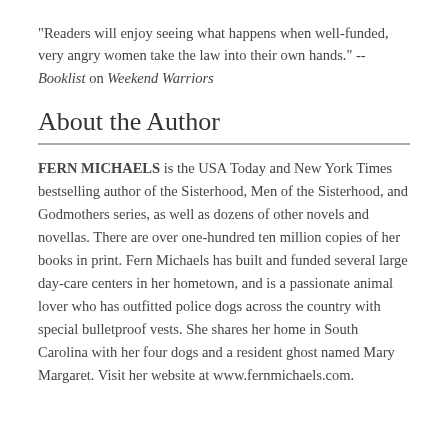"Readers will enjoy seeing what happens when well-funded, very angry women take the law into their own hands." --Booklist on Weekend Warriors
About the Author
FERN MICHAELS is the USA Today and New York Times bestselling author of the Sisterhood, Men of the Sisterhood, and Godmothers series, as well as dozens of other novels and novellas. There are over one-hundred ten million copies of her books in print. Fern Michaels has built and funded several large day-care centers in her hometown, and is a passionate animal lover who has outfitted police dogs across the country with special bulletproof vests. She shares her home in South Carolina with her four dogs and a resident ghost named Mary Margaret. Visit her website at www.fernmichaels.com.